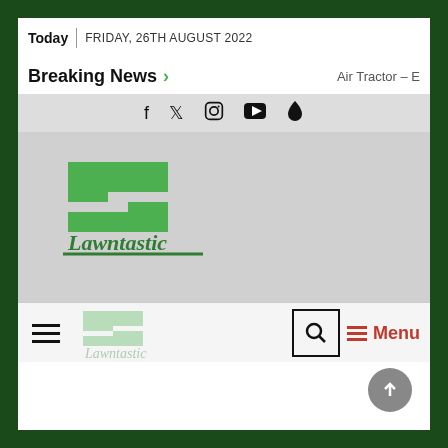Today | FRIDAY, 26TH AUGUST 2022
Breaking News > Air Tractor – E
[Figure (logo): Lawntastic logo — green stylized L shape with cursive Lawntastic text]
[Figure (infographic): Navigation bar with hamburger menu icon, search button, and red Menu label]